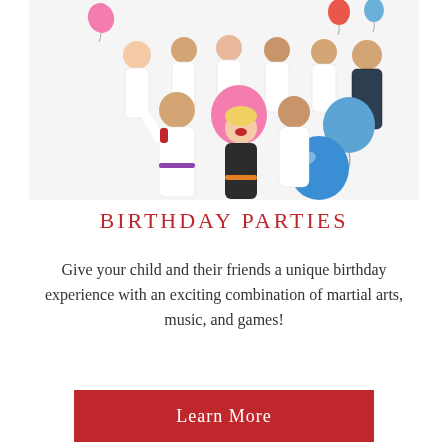[Figure (photo): Group of children in martial arts uniforms (white and black gi) holding colorful balloons (pink, blue, red) with arms raised, celebrating]
BIRTHDAY PARTIES
Give your child and their friends a unique birthday experience with an exciting combination of martial arts, music, and games!
Learn More